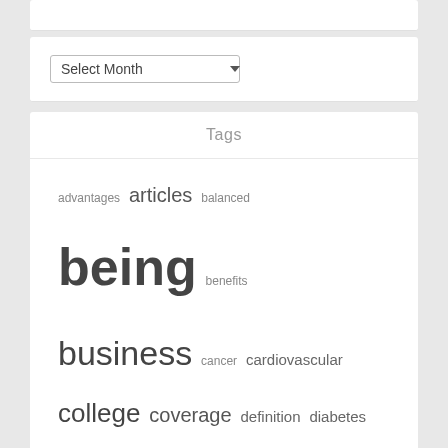[Figure (screenshot): A 'Select Month' dropdown widget in a white card with light gray background]
Tags
advantages articles balanced being benefits business cancer cardiovascular college coverage definition diabetes drugs dwelling education expectancy fitness health healthy heart higher holistic ideas improvement information institute insurance leisure lifestyle living meals medical medication medicine online public residing secret suggestions technology travel university vitamins wholesome world